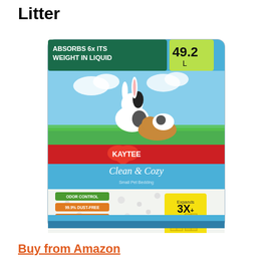Litter
[Figure (photo): Kaytee Clean & Cozy Small Pet Bedding product package. The bag is light blue and white with a red banner reading KAYTEE. The top has a dark green banner saying ABSORBS 6x ITS WEIGHT IN LIQUID and a yellow-green box with 49.2 L. The bag shows a rabbit and guinea pigs on green grass with a blue sky. Lower portion shows white fluffy bedding. Left side has green and orange badge stickers: ODOR CONTROL, 99.9% DUST-FREE, 2X MORE ABSORBENT. Right side has a yellow graphic saying Expands 3X+.]
Buy from Amazon